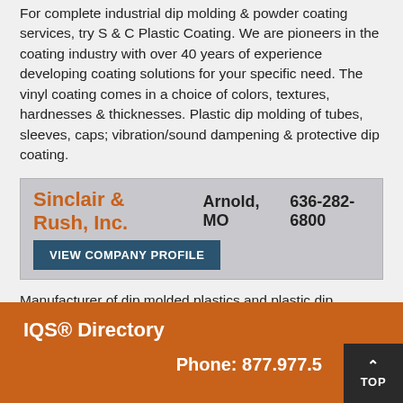For complete industrial dip molding & powder coating services, try S & C Plastic Coating. We are pioneers in the coating industry with over 40 years of experience developing coating solutions for your specific need. The vinyl coating comes in a choice of colors, textures, hardnesses & thicknesses. Plastic dip molding of tubes, sleeves, caps; vibration/sound dampening & protective dip coating.
Sinclair & Rush, Inc.  Arnold, MO  636-282-6800
VIEW COMPANY PROFILE
Manufacturer of dip molded plastics and plastic dip coating. Provides innovative, cost-efficient dip molded plastic products for a wide range of markets and applications. Contact us today with all of your dip coating needs.
IQS® Directory  Phone: 877.977.5...